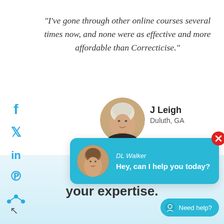"I've gone through other online courses several times now, and none were as effective and more affordable than Correcticise."
[Figure (photo): Circular profile photo of J Leigh, a woman with short white/blonde hair]
J Leigh
Duluth, GA
[Figure (screenshot): Chat popup widget with DL Walker avatar, name, and message: Hey, can I help you today?]
your expertise.